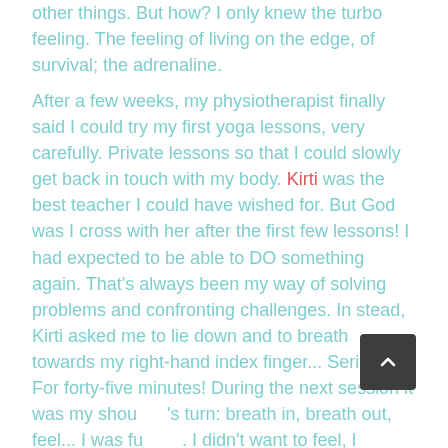other things. But how? I only knew the turbo feeling. The feeling of living on the edge, of survival; the adrenaline.
After a few weeks, my physiotherapist finally said I could try my first yoga lessons, very carefully. Private lessons so that I could slowly get back in touch with my body. Kirti was the best teacher I could have wished for. But God was I cross with her after the first few lessons! I had expected to be able to DO something again. That's always been my way of solving problems and confronting challenges. In stead, Kirti asked me to lie down and to breath towards my right-hand index finger... Seriously. For forty-five minutes! During the next session it was my shoulder's turn: breath in, breath out, feel... I was furious. I didn't want to feel, I wanted to do something.